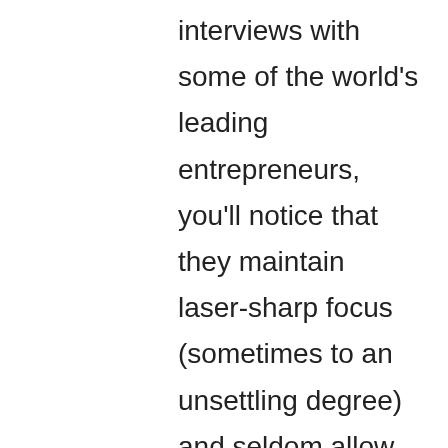interviews with some of the world's leading entrepreneurs, you'll notice that they maintain laser-sharp focus (sometimes to an unsettling degree) and seldom allow themselves to be distracted by phone calls, incoming messages, stray thoughts, or other individuals who may be present.
Renowned figures such Huffington Post's Arianna Huffington,